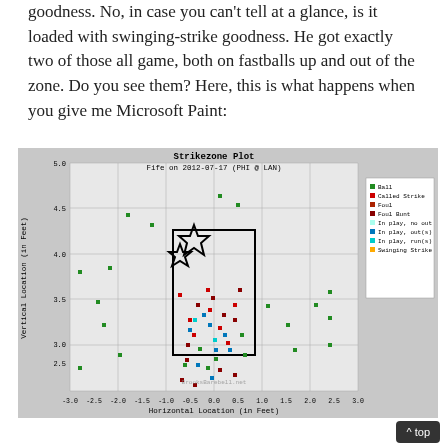goodness. No, in case you can't tell at a glance, is it loaded with swinging-strike goodness. He got exactly two of those all game, both on fastballs up and out of the zone. Do you see them? Here, this is what happens when you give me Microsoft Paint:
[Figure (scatter-plot): Strikezone Plot for Fife on 2012-07-17 (PHI @ LAN). Scatter plot showing pitch locations with colored markers by pitch result type. Stars mark two swinging strikes up and out of zone. Legend shows Ball, Called Strike, Foul, Foul Bunt, In play no out, In play out(s), In play run(s), Swinging Strike.]
^ top